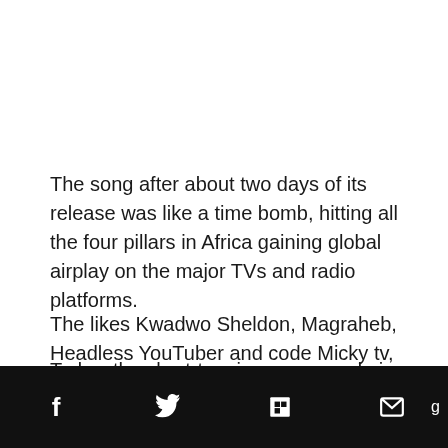The song after about two days of its release was like a time bomb, hitting all the four pillars in Africa gaining global airplay on the major TVs and radio platforms.
The likes Kwadwo Sheldon, Magraheb, Headless YouTuber and code Micky tv, and other great local and foreign YouTubers took turns reviewing visuals of made in ghana to their followers on their various channels.
Today, the chart-topping song, made in ghana continues to reign in Ghana and the international market. Rich ... g ... h2 gre